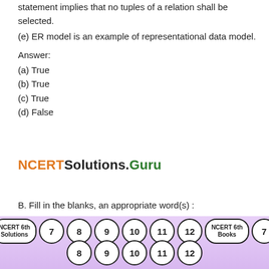(d) The complete absence of WHERE clause in SELECT statement implies that no tuples of a relation shall be selected.
(e) ER model is an example of representational data model.
Answer:
(a) True
(b) True
(c) True
(d) False
[Figure (logo): NCERTSolutions.Guru brand logo with orange NCERT, black Solutions, and green Guru text]
B. Fill in the blanks, an appropriate word(s) :
(a) A ___ does not have key attributes of its own.
[Figure (infographic): Navigation bar with circular buttons for NCERT 6th Solutions, 7, 8, 9, 10, 11, 12, NCERT 6th Books, 7 in top row and 8, 9, 10, 11, 12 in bottom row on purple gradient background]